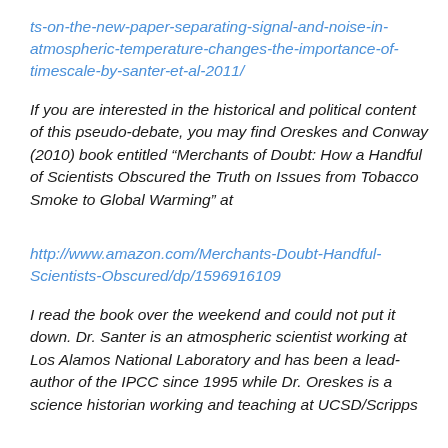ts-on-the-new-paper-separating-signal-and-noise-in-atmospheric-temperature-changes-the-importance-of-timescale-by-santer-et-al-2011/
If you are interested in the historical and political content of this pseudo-debate, you may find Oreskes and Conway (2010) book entitled “Merchants of Doubt: How a Handful of Scientists Obscured the Truth on Issues from Tobacco Smoke to Global Warming” at
http://www.amazon.com/Merchants-Doubt-Handful-Scientists-Obscured/dp/1596916109
I read the book over the weekend and could not put it down. Dr. Santer is an atmospheric scientist working at Los Alamos National Laboratory and has been a lead-author of the IPCC since 1995 while Dr. Oreskes is a science historian working and teaching at UCSD/Scripps